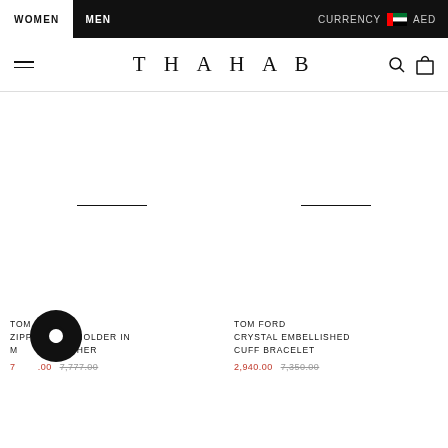WOMEN | MEN | CURRENCY AED
THAHAB
[Figure (photo): Product image placeholder area for Tom Ford Zipped Cardholder with horizontal line divider]
TOM FORD ZIPPED CARDHOLDER IN MATTE LEATHER
7,_ _ _.00  -7,777.00-
[Figure (photo): Product image placeholder area for Tom Ford Crystal Embellished Cuff Bracelet with horizontal line divider]
TOM FORD CRYSTAL EMBELLISHED CUFF BRACELET
2,940.00  -7,350.00-